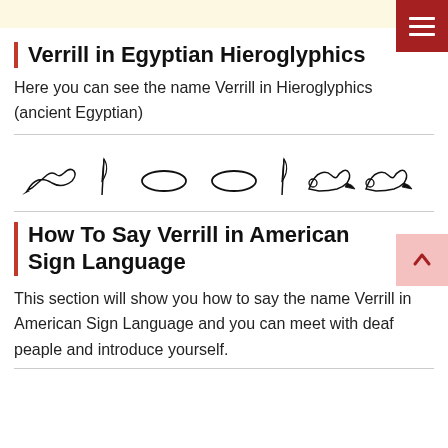[Figure (illustration): Top banner with hieroglyph symbols on pale yellow background and dark red hamburger menu button in top right corner]
Verrill in Egyptian Hieroglyphics
Here you can see the name Verrill in Hieroglyphics (ancient Egyptian)
[Figure (illustration): Row of Egyptian hieroglyphic symbols representing the name Verrill: a bird/snake glyph, a feather/staff glyph, two oval/eye glyphs, another feather/staff glyph, and two crouching lion/animal glyphs]
How To Say Verrill in American Sign Language
This section will show you how to say the name Verrill in American Sign Language and you can meet with deaf peaple and introduce yourself.